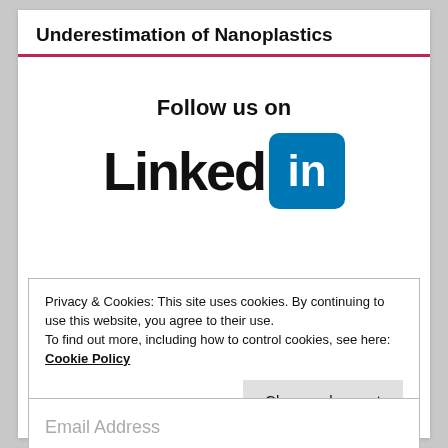Underestimation of Nanoplastics
[Figure (logo): LinkedIn logo with 'Follow us on' text above. Black 'Linked' text followed by a blue rounded-square box containing white 'in' text.]
Privacy & Cookies: This site uses cookies. By continuing to use this website, you agree to their use.
To find out more, including how to control cookies, see here: Cookie Policy
Close and accept
Email Address